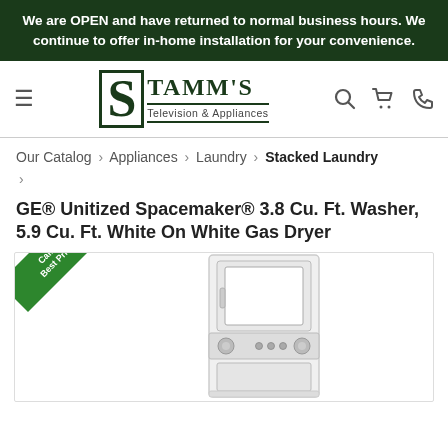We are OPEN and have returned to normal business hours. We continue to offer in-home installation for your convenience.
[Figure (logo): Stamm's Television & Appliances logo with large decorative S and company name]
Our Catalog › Appliances › Laundry › Stacked Laundry ›
GE® Unitized Spacemaker® 3.8 Cu. Ft. Washer, 5.9 Cu. Ft. White On White Gas Dryer
[Figure (photo): White GE stacked washer/dryer unit with Call for Best Price ribbon in upper left corner]